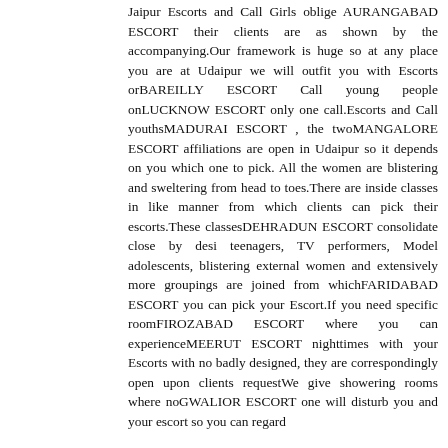Jaipur Escorts and Call Girls oblige AURANGABAD ESCORT their clients are as shown by the accompanying.Our framework is huge so at any place you are at Udaipur we will outfit you with Escorts orBAREILLY ESCORT Call young people onLUCKNOW ESCORT only one call.Escorts and Call youthsMADURAI ESCORT , the twoMANGALORE ESCORT affiliations are open in Udaipur so it depends on you which one to pick. All the women are blistering and sweltering from head to toes.There are inside classes in like manner from which clients can pick their escorts.These classesDEHRADUN ESCORT consolidate close by desi teenagers, TV performers, Model adolescents, blistering external women and extensively more groupings are joined from whichFARIDABAD ESCORT you can pick your Escort.If you need specific roomFIROZABAD ESCORT where you can experienceMEERUT ESCORT nighttimes with your Escorts with no badly designed, they are correspondingly open upon clients requestWe give showering rooms where noGWALIOR ESCORT one will disturb you and your escort so you can regard